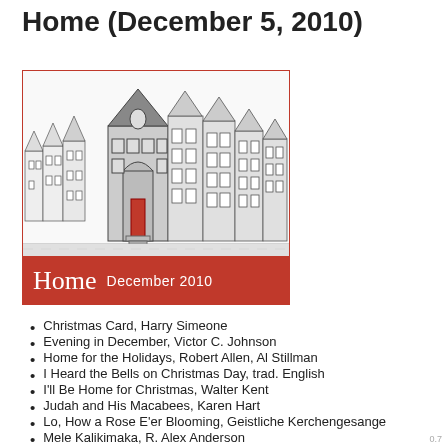Home (December 5, 2010)
[Figure (illustration): Album cover illustration showing a row of Victorian/brownstone houses in pencil sketch style with one house highlighted in grey and a red front door. Red banner at bottom reads 'Home December 2010'.]
Christmas Card, Harry Simeone
Evening in December, Victor C. Johnson
Home for the Holidays, Robert Allen, Al Stillman
I Heard the Bells on Christmas Day, trad. English
I'll Be Home for Christmas, Walter Kent
Judah and His Macabees, Karen Hart
Lo, How a Rose E'er Blooming, Geistliche Kerchengesange
Mele Kalikimaka, R. Alex Anderson
Mise O'Masara, Martyrion, Trad. Irish Victorian